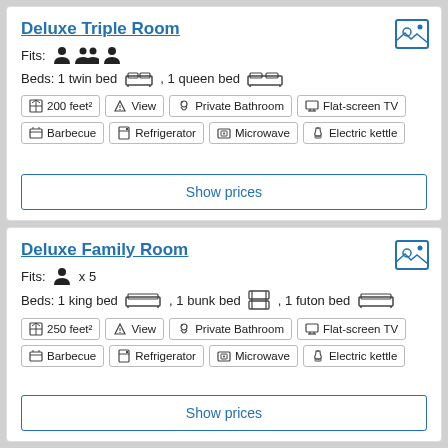Deluxe Triple Room
Fits: 3 people
Beds: 1 twin bed, 1 queen bed
200 feet² | View | Private Bathroom | Flat-screen TV | Barbecue | Refrigerator | Microwave | Electric kettle
Show prices
Deluxe Family Room
Fits: x 5
Beds: 1 king bed, 1 bunk bed, 1 futon bed
250 feet² | View | Private Bathroom | Flat-screen TV | Barbecue | Refrigerator | Microwave | Electric kettle
Show prices